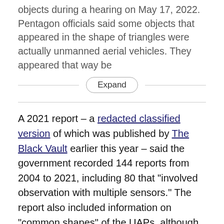objects during a hearing on May 17, 2022. Pentagon officials said some objects that appeared in the shape of triangles were actually unmanned aerial vehicles. They appeared that way be
Expand
A 2021 report – a redacted classified version of which was published by The Black Vault earlier this year – said the government recorded 144 reports from 2004 to 2021, including 80 that "involved observation with multiple sensors." The report also included information on "common shapes" of the UAPs, although the entire sections on the shapes are redacted.
The government has said that UAP "probably lack a single explanation." Neither classified nor unclassified reports from the government so far rule out space aliens. But other possible explanations are "airborne